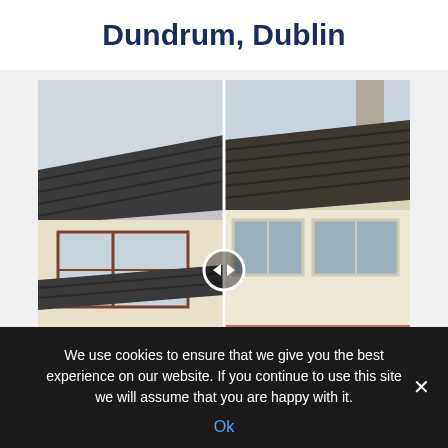Dundrum, Dublin
[Figure (photo): Before and after comparison photo of a house exterior in Dundrum, Dublin. Left half shows the house before (darker tiles, older appearance), right half shows after (lighter render, renovated appearance). A circular handle icon with left/right arrows is shown in the center for the before/after slider.]
We use cookies to ensure that we give you the best experience on our website. If you continue to use this site we will assume that you are happy with it.
Ok